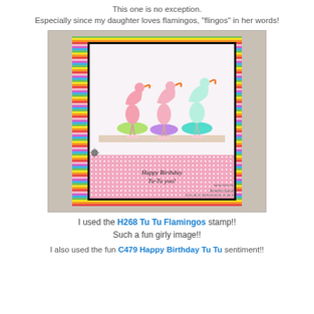This one is no exception. Especially since my daughter loves flamingos, "flingos" in her words!
[Figure (photo): A handmade birthday card featuring three flamingos dressed in tutus, on a striped rainbow background, with a pink polka dot banner reading 'Happy Birthday Tu-Tu You!'. Designed by Kendra Sand for Great Impressions Stamps.]
I used the H268 Tu Tu Flamingos stamp!! Such a fun girly image!!
I also used the fun C479 Happy Birthday Tu Tu sentiment!!